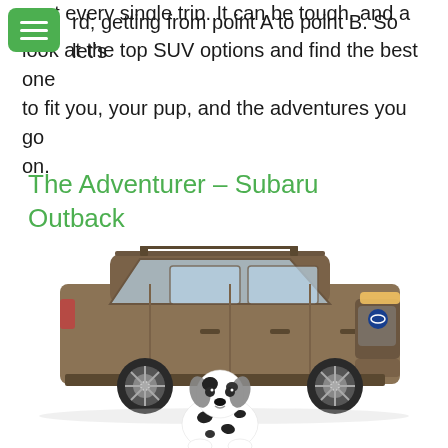seat every single trip. It can be tough, and a reward; getting from point A to point B. So let's look at the top SUV options and find the best one to fit you, your pup, and the adventures you go on.
The Adventurer – Subaru Outback
[Figure (photo): A brown/tan Subaru Outback SUV parked, viewed from a three-quarter front angle, with a dalmatian puppy sitting in front of it on a white background.]